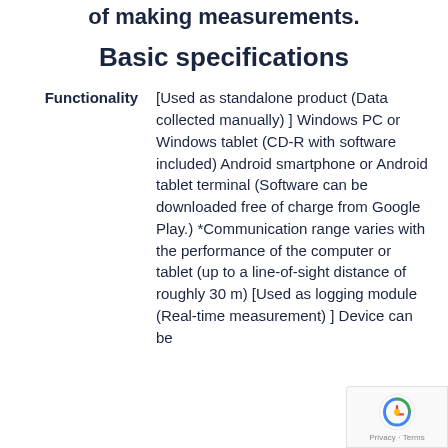of making measurements.
Basic specifications
Functionality  [Used as standalone product (Data collected manually) ] Windows PC or Windows tablet (CD-R with software included) Android smartphone or Android tablet terminal (Software can be downloaded free of charge from Google Play.) *Communication range varies with the performance of the computer or tablet (up to a line-of-sight distance of roughly 30 m) [Used as logging module (Real-time measurement) ] Device can be